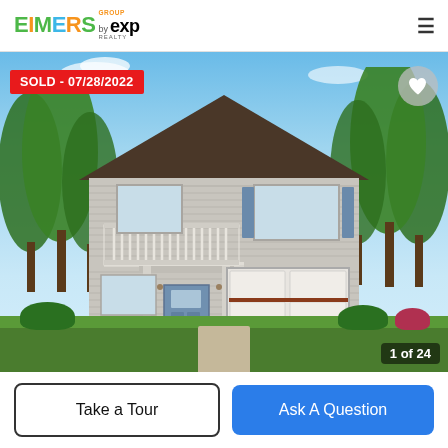EIMERS GROUP by eXp REALTY
[Figure (photo): Two-story residential house with gray siding, dark roof, white balcony railing on second floor, two-car garage, blue front door, surrounded by green trees. SOLD badge overlay reading SOLD - 07/28/2022. Heart favorite button top right. Image counter showing 1 of 24.]
SOLD - 07/28/2022
1 of 24
Take a Tour
Ask A Question